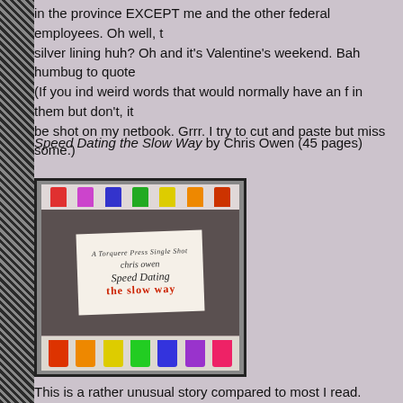in the province EXCEPT me and the other federal employees. Oh well, t... silver lining huh? Oh and it's Valentine's weekend. Bah humbug to quote... (If you ind weird words that would normally have an f in them but don't, it... be shot on my netbook. Grrr. I try to cut and paste but miss some.)
Speed Dating the Slow Way by Chris Owen (45 pages)
[Figure (photo): Book cover image for 'Speed Dating the Slow Way' by Chris Owen. A hand holds a card with the book title written on it in script. Colorful shot glasses are shown at top and bottom of the cover. Text reads 'A Torquere Press Single Shot', 'chris owen', 'Speed Dating the slow way'.]
This is a rather unusual story compared to most I read. Reed is doing a d... when he realizes his "date" was a camp counselor from when he was a t... but he gets Jack's card and figures maybe later he'll meet up with him du... Instead he gets hammered and picks up a guy and is making out in the e... but Jack his "date". Reed's date invites them to join them and Reed is s...